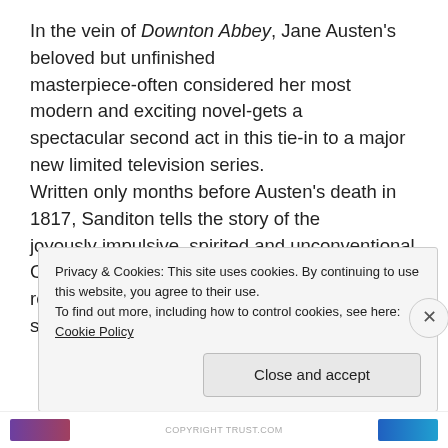In the vein of Downton Abbey, Jane Austen's beloved but unfinished masterpiece-often considered her most modern and exciting novel-gets a spectacular second act in this tie-in to a major new limited television series. Written only months before Austen's death in 1817, Sanditon tells the story of the joyously impulsive, spirited and unconventional Charlotte Heywood and her spiky relationship with the humorous, charming (and slightly wild!) Sidney Parker.
Privacy & Cookies: This site uses cookies. By continuing to use this website, you agree to their use.
To find out more, including how to control cookies, see here: Cookie Policy
Close and accept